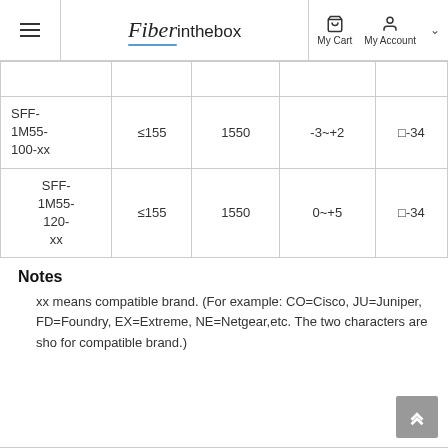Fiberinthebox — My Cart | My Account
|  |  |  |  |  |
| --- | --- | --- | --- | --- |
|  |  |  |  |  |
| SFF-1M55-100-xx | ≤155 | 1550 | -3~+2 | □-34 |
| SFF-1M55-120-xx | ≤155 | 1550 | 0~+5 | □-34 |
Notes
xx means compatible brand. (For example: CO=Cisco, JU=Juniper, FD=Foundry, EX=Extreme, NE=Netgear,etc. The two characters are sho for compatible brand.)